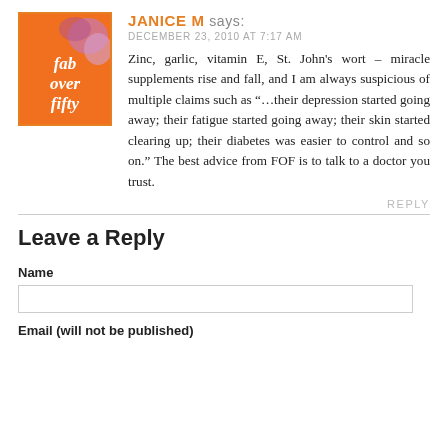[Figure (logo): Fab Over Fifty blog logo: orange square with white italic text 'fab over fifty' and colorful abstract floral shapes]
JANICE M says:
DECEMBER 23, 2010 AT 7:17 AM
Zinc, garlic, vitamin E, St. John’s wort – miracle supplements rise and fall, and I am always suspicious of multiple claims such as “…their depression started going away; their fatigue started going away; their skin started clearing up; their diabetes was easier to control and so on.” The best advice from FOF is to talk to a doctor you trust.
REPLY
Leave a Reply
Name
Email (will not be published)